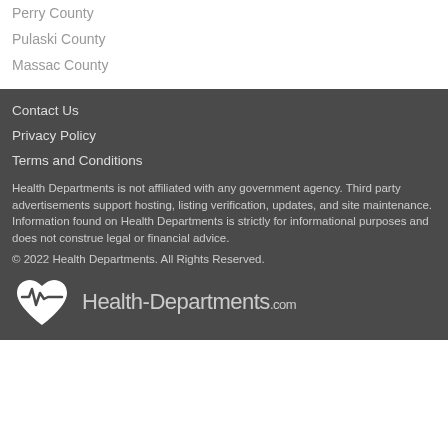Perry County
Pulaski County
Massac County
Contact Us
Privacy Policy
Terms and Conditions
Health Departments is not affiliated with any government agency. Third party advertisements support hosting, listing verification, updates, and site maintenance. Information found on Health Departments is strictly for informational purposes and does not construe legal or financial advice.
© 2022 Health Departments. All Rights Reserved.
[Figure (logo): Health-Departments.com logo with heart and heartbeat line icon]